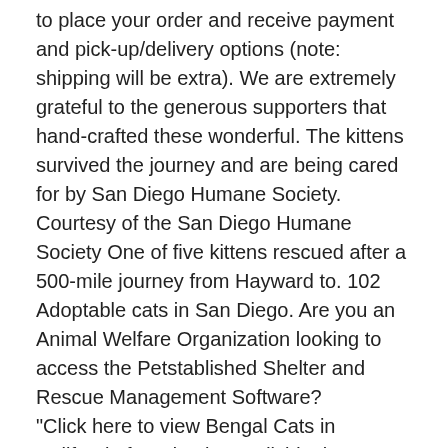to place your order and receive payment and pick-up/delivery options (note: shipping will be extra). We are extremely grateful to the generous supporters that hand-crafted these wonderful. The kittens survived the journey and are being cared for by San Diego Humane Society. Courtesy of the San Diego Humane Society One of five kittens rescued after a 500-mile journey from Hayward to. 102 Adoptable cats in San Diego. Are you an Animal Welfare Organization looking to access the Petstablished Shelter and Rescue Management Software? "Click here to view Bengal Cats in California for adoption. Individuals & rescue groups can post animals free." - ♥ RESCUE ME! ♥ 🐾 Ragamitts Ragdolls is located in San Diego CA. We're a small boutique Ragdoll breeder having only one liter at a time. Our Ragdoll kittens are TICA